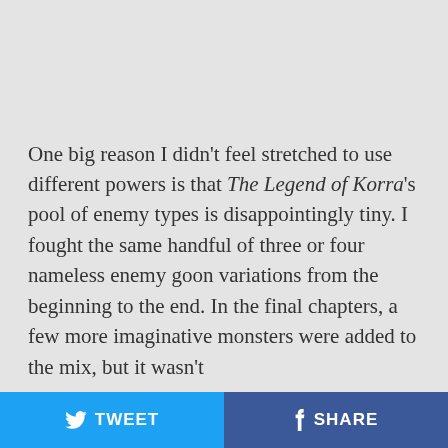One big reason I didn't feel stretched to use different powers is that The Legend of Korra's pool of enemy types is disappointingly tiny. I fought the same handful of three or four nameless enemy goon variations from the beginning to the end. In the final chapters, a few more imaginative monsters were added to the mix, but it wasn't
TWEET   SHARE